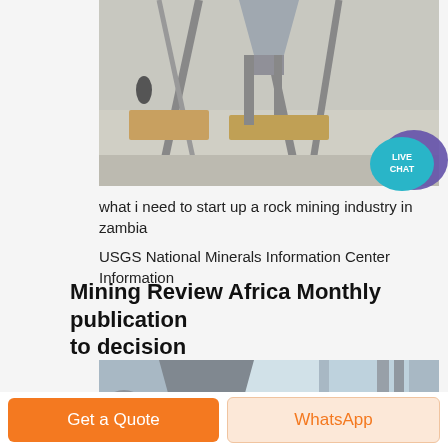[Figure (photo): Industrial mining/milling equipment inside a warehouse or shed, showing hopper and structural steel framework]
[Figure (other): Live Chat speech bubble icon in teal/purple with text LIVE CHAT]
what i need to start up a rock mining industry in zambia
USGS National Minerals Information Center Information
Mining Review Africa Monthly publication to decision
[Figure (photo): Large industrial milling/grinding machines inside a factory building, showing vertical mill equipment and multi-level metal platforms]
Get a Quote
WhatsApp